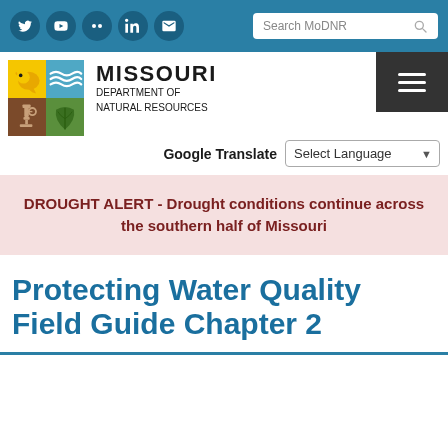Missouri Department of Natural Resources – site header with social icons and search bar
[Figure (logo): Missouri Department of Natural Resources logo: 2x2 grid of colored quadrants (yellow bird, blue water waves, brown microscope, green leaf) with 'MISSOURI DEPARTMENT OF NATURAL RESOURCES' text]
Google Translate – Select Language
DROUGHT ALERT - Drought conditions continue across the southern half of Missouri
Protecting Water Quality Field Guide Chapter 2